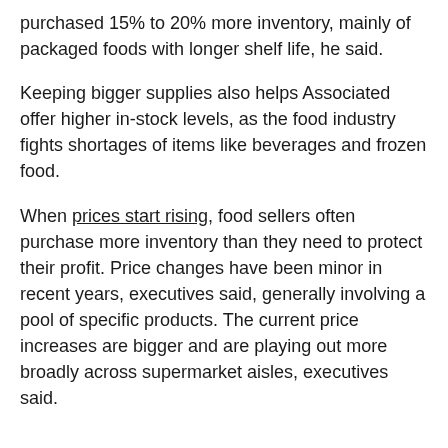purchased 15% to 20% more inventory, mainly of packaged foods with longer shelf life, he said.
Keeping bigger supplies also helps Associated offer higher in-stock levels, as the food industry fights shortages of items like beverages and frozen food.
When prices start rising, food sellers often purchase more inventory than they need to protect their profit. Price changes have been minor in recent years, executives said, generally involving a pool of specific products. The current price increases are bigger and are playing out more broadly across supermarket aisles, executives said.